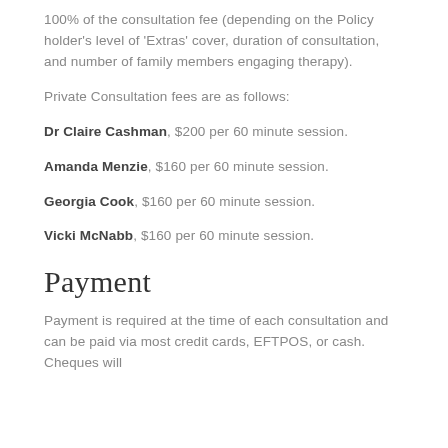100% of the consultation fee (depending on the Policy holder's level of 'Extras' cover, duration of consultation, and number of family members engaging therapy).
Private Consultation fees are as follows:
Dr Claire Cashman, $200 per 60 minute session.
Amanda Menzie, $160 per 60 minute session.
Georgia Cook, $160 per 60 minute session.
Vicki McNabb, $160 per 60 minute session.
Payment
Payment is required at the time of each consultation and can be paid via most credit cards, EFTPOS, or cash. Cheques will